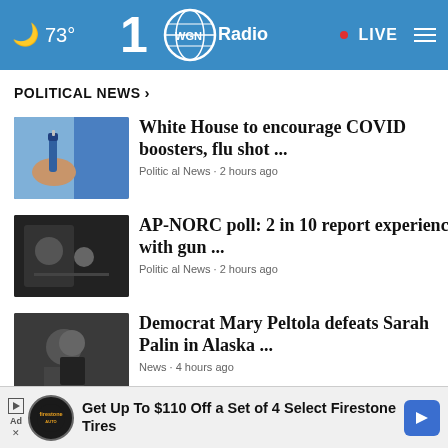🌙 73° | WGN Radio 100 | LIVE
POLITICAL NEWS >
White House to encourage COVID boosters, flu shot ... | Political News • 2 hours ago
AP-NORC poll: 2 in 10 report experience with gun ... | Political News • 2 hours ago
Democrat Mary Peltola defeats Sarah Palin in Alaska ... | News • 4 hours ago
Five takeaways from explosive Trump, Mar-a-Lago filing | News • 4 hours ago
[Figure (screenshot): Advertisement banner: Get Up To $110 Off a Set of 4 Select Firestone Tires - Firestone Auto logo and navigation arrow button]
Get Up To $110 Off a Set of 4 Select Firestone Tires